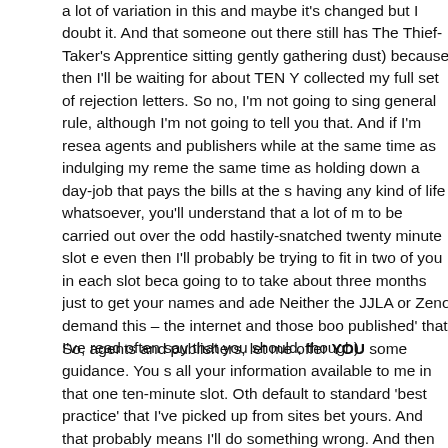a lot of variation in this and maybe it's changed but I doubt it. And that someone out there still has The Thief-Taker's Apprentice sitting gently gathering dust) because then I'll be waiting for about TEN Y collected my full set of rejection letters. So no, I'm not going to sing general rule, although I'm not going to tell you that. And if I'm resea agents and publishers while at the same time as indulging my reme the same time as holding down a day-job that pays the bills at the s having any kind of life whatsoever, you'll understand that a lot of m to be carried out over the odd hastily-snatched twenty minute slot e even then I'll probably be trying to fit in two of you in each slot beca going to to take about three months just to get your names and ade Neither the JJLA or Zeno demand this – the internet and those boo published' that I've read often say that you should, though).
So, agents and publishers, let me offer YOU some guidance. You s all your information available to me in that one ten-minute slot. Oth default to standard 'best practice' that I've picked up from sites bet yours. And that probably means I'll do something wrong. And then and we'll neither of us know what we've missed out on. Ask yourse how many authors you know that are good at writing books. About And how many of those are good at following basic instructions? W deadlines? Being organised? It's not that we're different to the rest just that we're, well, we're not project managers[1], we're writers.